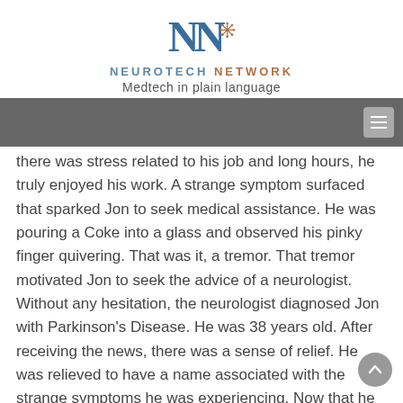[Figure (logo): Neurotech Network logo with stylized NN letters and a neuron/asterisk graphic]
NEUROTECH NETWORK
Medtech in plain language
[Figure (other): Dark gray navigation bar with hamburger menu icon on the right]
there was stress related to his job and long hours, he truly enjoyed his work. A strange symptom surfaced that sparked Jon to seek medical assistance. He was pouring a Coke into a glass and observed his pinky finger quivering. That was it, a tremor. That tremor motivated Jon to seek the advice of a neurologist. Without any hesitation, the neurologist diagnosed Jon with Parkinson’s Disease. He was 38 years old. After receiving the news, there was a sense of relief. He was relieved to have a name associated with the strange symptoms he was experiencing. Now that he had a diagnosis, he educated himself